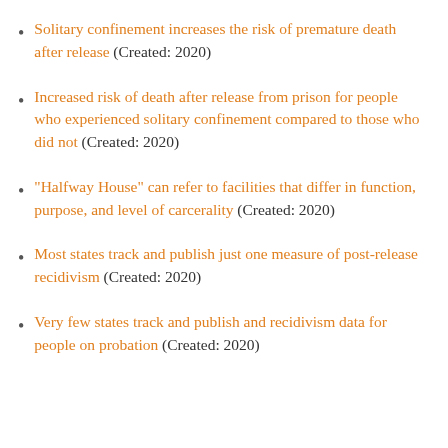Solitary confinement increases the risk of premature death after release (Created: 2020)
Increased risk of death after release from prison for people who experienced solitary confinement compared to those who did not (Created: 2020)
"Halfway House" can refer to facilities that differ in function, purpose, and level of carcerality (Created: 2020)
Most states track and publish just one measure of post-release recidivism (Created: 2020)
Very few states track and publish and recidivism data for people on probation (Created: 2020)